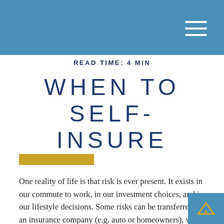READ TIME: 4 MIN
WHEN TO SELF-INSURE
[Figure (other): Gold/yellow horizontal decorative bar]
One reality of life is that risk is ever present. It exists in our commute to work, in our investment choices, and in our lifestyle decisions. Some risks can be transferred to an insurance company (e.g. auto or homeowners), while others we assume ourselves.